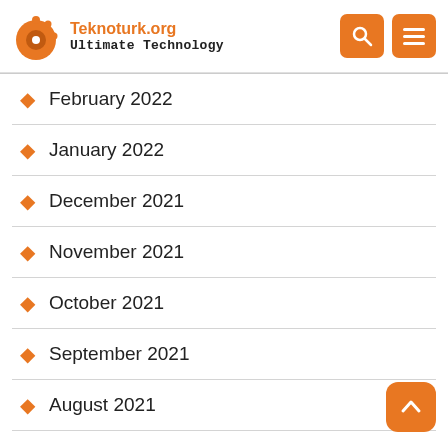Teknoturk.org Ultimate Technology
February 2022
January 2022
December 2021
November 2021
October 2021
September 2021
August 2021
July 2021